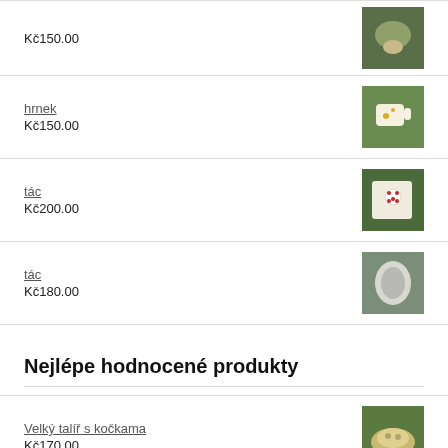Kč150.00
hrnek
Kč150.00
tác
Kč200.00
tác
Kč180.00
Nejlépe hodnocené produkty
Velký talíř s kočkama
Kč170.00